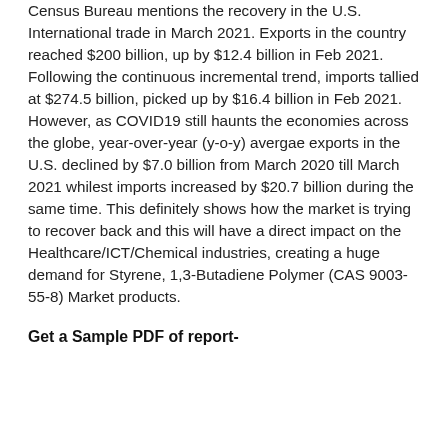Census Bureau mentions the recovery in the U.S. International trade in March 2021. Exports in the country reached $200 billion, up by $12.4 billion in Feb 2021. Following the continuous incremental trend, imports tallied at $274.5 billion, picked up by $16.4 billion in Feb 2021. However, as COVID19 still haunts the economies across the globe, year-over-year (y-o-y) avergae exports in the U.S. declined by $7.0 billion from March 2020 till March 2021 whilest imports increased by $20.7 billion during the same time. This definitely shows how the market is trying to recover back and this will have a direct impact on the Healthcare/ICT/Chemical industries, creating a huge demand for Styrene, 1,3-Butadiene Polymer (CAS 9003-55-8) Market products.
Get a Sample PDF of report-